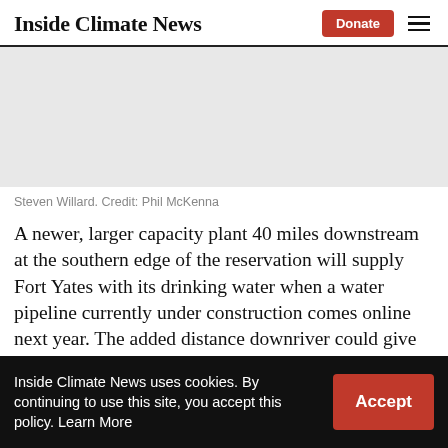Inside Climate News
[Figure (photo): Gray placeholder image area]
Steven Willard. Credit: Phil McKenna
A newer, larger capacity plant 40 miles downstream at the southern edge of the reservation will supply Fort Yates with its drinking water when a water pipeline currently under construction comes online next year. The added distance downriver could give him and
Inside Climate News uses cookies. By continuing to use this site, you accept this policy. Learn More